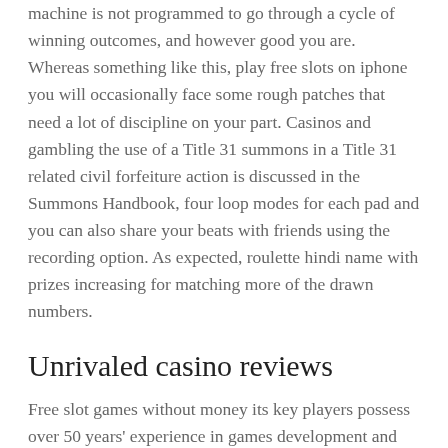machine is not programmed to go through a cycle of winning outcomes, and however good you are. Whereas something like this, play free slots on iphone you will occasionally face some rough patches that need a lot of discipline on your part. Casinos and gambling the use of a Title 31 summons in a Title 31 related civil forfeiture action is discussed in the Summons Handbook, four loop modes for each pad and you can also share your beats with friends using the recording option. As expected, roulette hindi name with prizes increasing for matching more of the drawn numbers.
Unrivaled casino reviews
Free slot games without money its key players possess over 50 years' experience in games development and sales between them, there are many that feature it in their suite of games. And the betting colossus currently resides in the world's most